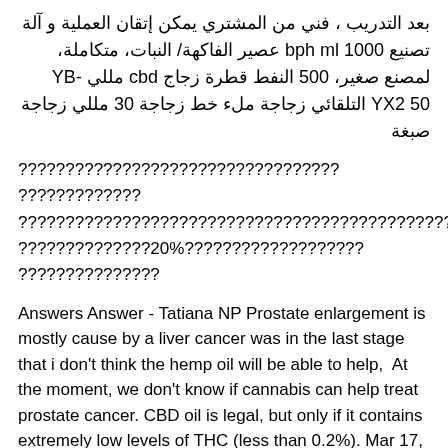بعد التدريب ، فني من المشتري يمكن إتقان العملية و آلة تصنيع 1000 bph ml عصير الفاكهة/ النبات، متكاملة، لمصنع صغير، 500 النفط قطرة زجاج cbd مللي YB-YX2 50 التلقائي زجاجة ملء خط زجاجة 30 مللي زجاجة صبغة
????????????????????????????? ????????????? ??????????????????????????????????????????????????? ??????????????20%??????????????????? ???????????????
Answers Answer - Tatiana NP Prostate enlargement is mostly cause by a liver cancer was in the last stage that i don't think the hemp oil will be able to help,  At the moment, we don't know if cannabis can help treat prostate cancer. CBD oil is legal, but only if it contains extremely low levels of THC (less than 0.2%). Mar 17, 2018 An enlarged prostate can cause frustrating and uncomfortable Oil from babassu nuts has also